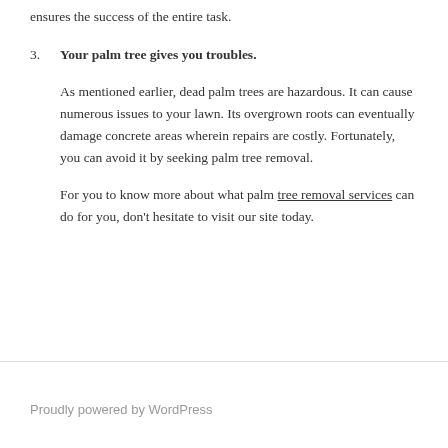ensures the success of the entire task.
3. Your palm tree gives you troubles.
As mentioned earlier, dead palm trees are hazardous. It can cause numerous issues to your lawn. Its overgrown roots can eventually damage concrete areas wherein repairs are costly. Fortunately, you can avoid it by seeking palm tree removal.
For you to know more about what palm tree removal services can do for you, don't hesitate to visit our site today.
Proudly powered by WordPress